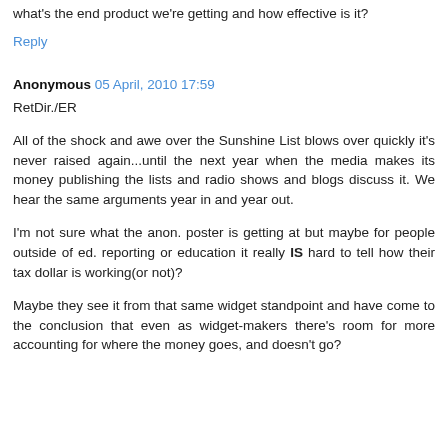what's the end product we're getting and how effective is it?
Reply
Anonymous 05 April, 2010 17:59
RetDir./ER
All of the shock and awe over the Sunshine List blows over quickly it's never raised again...until the next year when the media makes its money publishing the lists and radio shows and blogs discuss it. We hear the same arguments year in and year out.
I'm not sure what the anon. poster is getting at but maybe for people outside of ed. reporting or education it really IS hard to tell how their tax dollar is working(or not)?
Maybe they see it from that same widget standpoint and have come to the conclusion that even as widget-makers there's room for more accounting for where the money goes, and doesn't go?